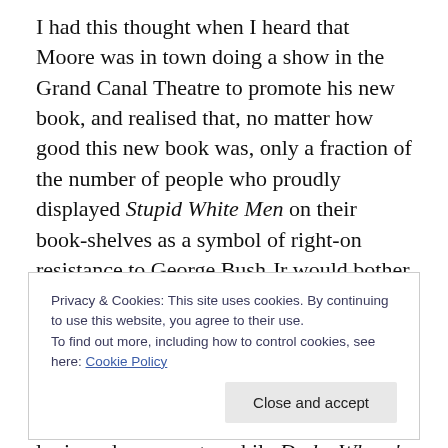I had this thought when I heard that Moore was in town doing a show in the Grand Canal Theatre to promote his new book, and realised that, no matter how good this new book was, only a fraction of the number of people who proudly displayed Stupid White Men on their book-shelves as a symbol of right-on resistance to George Bush Jr would bother to buy this one. It's not like Moore's writing has suffered an obvious fall-off and that's the reason that people are eschewing it. Stupid White Men is very funny but also very sketchy at times in its logic and arguments, while Dude, Where's my Country? is filled with
Privacy & Cookies: This site uses cookies. By continuing to use this website, you agree to their use. To find out more, including how to control cookies, see here: Cookie Policy